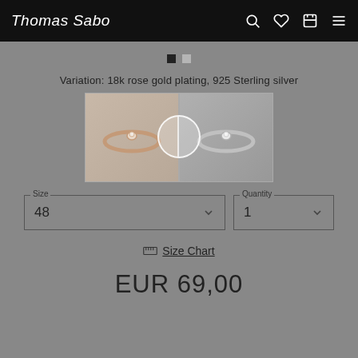Thomas Sabo
Variation: 18k rose gold plating, 925 Sterling silver
[Figure (photo): Two ring product images side by side: left shows a rose gold ring, right shows a silver ring, with a circular toggle overlay in the center]
Size 48
Quantity 1
Size Chart
EUR 69,00